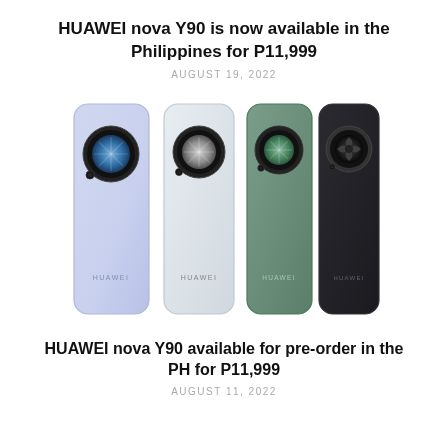HUAWEI nova Y90 is now available in the Philippines for P11,999
AUGUST 19, 2022
[Figure (photo): Four HUAWEI nova Y90 smartphones shown from the back in four colors: light blue/purple, white/silver, green, and dark gray/black, all featuring a circular camera module.]
HUAWEI nova Y90 available for pre-order in the PH for P11,999
AUGUST 11, 2022